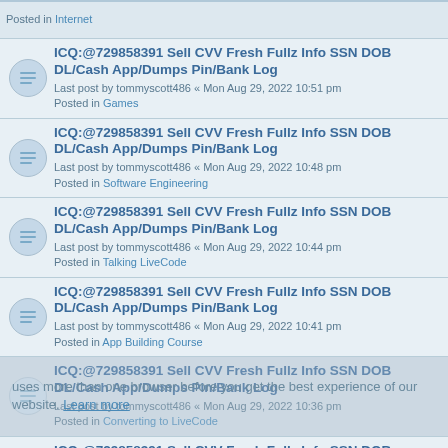Posted in Internet
ICQ:@729858391 Sell CVV Fresh Fullz Info SSN DOB DL/Cash App/Dumps Pin/Bank Log
Last post by tommyscott486 « Mon Aug 29, 2022 10:51 pm
Posted in Games
ICQ:@729858391 Sell CVV Fresh Fullz Info SSN DOB DL/Cash App/Dumps Pin/Bank Log
Last post by tommyscott486 « Mon Aug 29, 2022 10:48 pm
Posted in Software Engineering
ICQ:@729858391 Sell CVV Fresh Fullz Info SSN DOB DL/Cash App/Dumps Pin/Bank Log
Last post by tommyscott486 « Mon Aug 29, 2022 10:44 pm
Posted in Talking LiveCode
ICQ:@729858391 Sell CVV Fresh Fullz Info SSN DOB DL/Cash App/Dumps Pin/Bank Log
Last post by tommyscott486 « Mon Aug 29, 2022 10:41 pm
Posted in App Building Course
ICQ:@729858391 Sell CVV Fresh Fullz Info SSN DOB DL/Cash App/Dumps Pin/Bank Log
Last post by tommyscott486 « Mon Aug 29, 2022 10:36 pm
Posted in Converting to LiveCode
ICQ:@729858391 Sell CVV Fresh Fullz Info SSN DOB DL/Cash App/Dumps Pin/Bank Log
Last post by tommyscott486 « Mon Aug 29, 2022 10:32 pm
Posted in Getting Started with LiveCode - Complete Beginners
ICQ:@729858391 Sell CVV Fresh Fullz Info SSN DOB